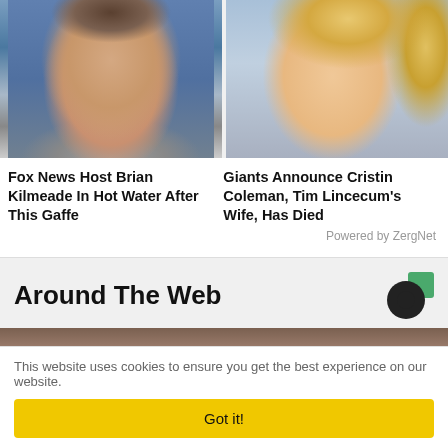[Figure (photo): Headshot of Fox News host Brian Kilmeade, middle-aged man in suit, blue studio background]
[Figure (photo): Headshot of Cristin Coleman, blonde woman smiling, light background]
Fox News Host Brian Kilmeade In Hot Water After This Gaffe
Giants Announce Cristin Coleman, Tim Lincecum's Wife, Has Died
Powered by ZergNet
Around The Web
[Figure (logo): Taboola logo — dark circle with green square accent]
[Figure (photo): Partial photo of a person, bottom portion of page, cropped]
This website uses cookies to ensure you get the best experience on our website.
Got it!